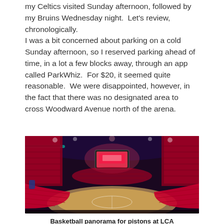my Celtics visited Sunday afternoon, followed by my Bruins Wednesday night. Let's review, chronologically.
I was a bit concerned about parking on a cold Sunday afternoon, so I reserved parking ahead of time, in a lot a few blocks away, through an app called ParkWhiz. For $20, it seemed quite reasonable. We were disappointed, however, in the fact that there was no designated area to cross Woodward Avenue north of the arena.
[Figure (photo): Panoramic interior photo of Little Caesars Arena (LCA) during a Detroit Pistons basketball game. Wide-angle view showing red stadium seats, the basketball court, scoreboard, and arena lighting with blue and red tones.]
Basketball panorama for pistons at LCA